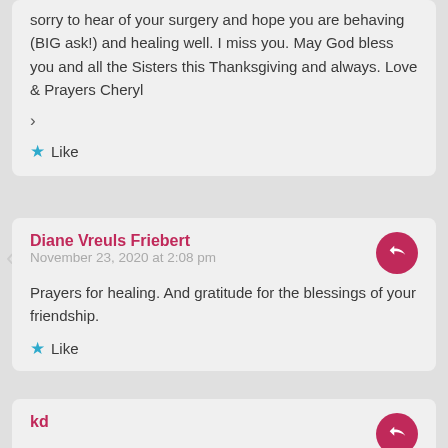sorry to hear of your surgery and hope you are behaving (BIG ask!) and healing well. I miss you. May God bless you and all the Sisters this Thanksgiving and always. Love & Prayers Cheryl
>
★ Like
Diane Vreuls Friebert
November 23, 2020 at 2:08 pm
Prayers for healing. And gratitude for the blessings of your friendship.
★ Like
kd